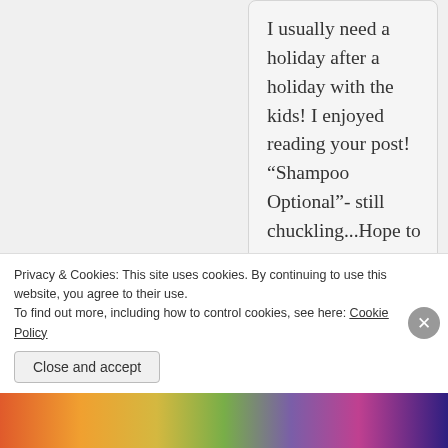I usually need a holiday after a holiday with the kids! I enjoyed reading your post! “Shampoo Optional”- still chuckling...Hope to see you again at #abitofeverything
★ Like
Reply
[Figure (photo): Circular avatar photo of a person, dark toned image]
This Mum's Life
November 22, 2015 at 3:05 am
Oh yes, I dream of holidays and
Privacy & Cookies: This site uses cookies. By continuing to use this website, you agree to their use.
To find out more, including how to control cookies, see here: Cookie Policy
Close and accept